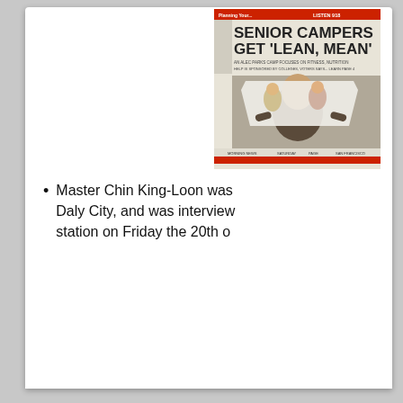[Figure (photo): Newspaper clipping with headline 'SENIOR CAMPERS GET LEAN, MEAN' showing a man holding up a page with photos of campers, with subtitle text about fitness and nutrition camp]
Master Chin King-Loon was ... Daly City, and was interview... station on Friday the 20th o...